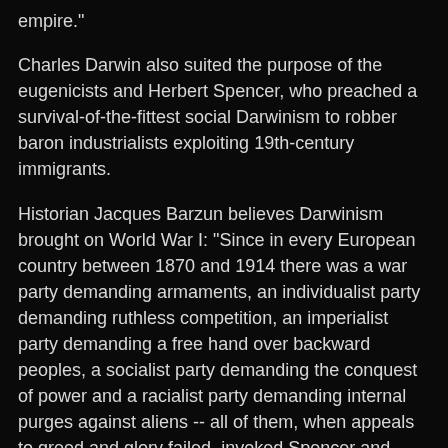empire."
Charles Darwin also suited the purpose of the eugenicists and Herbert Spencer, who preached a survival-of-the-fittest social Darwinism to robber baron industrialists exploiting 19th-century immigrants.
Historian Jacques Barzun believes Darwinism brought on World War I: "Since in every European country between 1870 and 1914 there was a war party demanding armaments, an individualist party demanding ruthless competition, an imperialist party demanding a free hand over backward peoples, a socialist party demanding the conquest of power and a racialist party demanding internal purges against aliens -- all of them, when appeals to greed and glory failed, invoked Spencer and Darwin, which was to say science incarnate."
Yet a theory can produce evil -- and still be true.
And here Windchy does his best demolition work.
Darwin, he demonstrates, stole his theory from Alfred